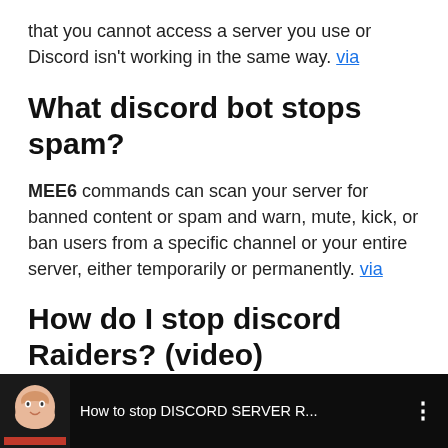that you cannot access a server you use or Discord isn't working in the same way. via
What discord bot stops spam?
MEE6 commands can scan your server for banned content or spam and warn, mute, kick, or ban users from a specific channel or your entire server, either temporarily or permanently. via
How do I stop discord Raiders? (video)
[Figure (screenshot): YouTube video thumbnail showing 'How to stop DISCORD SERVER R...' with a character avatar on dark background]